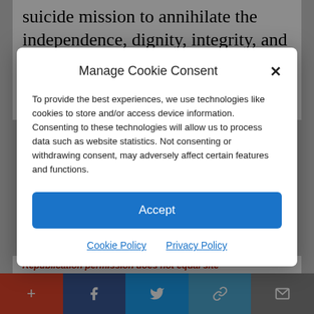suicide mission to annihilate the independence, dignity, integrity, and culture of the region as part of a grand scheme to enslave the population and
Manage Cookie Consent
To provide the best experiences, we use technologies like cookies to store and/or access device information. Consenting to these technologies will allow us to process data such as website statistics. Not consenting or withdrawing consent, may adversely affect certain features and functions.
Accept
Cookie Policy  Privacy Policy
Republication permission does not equal site